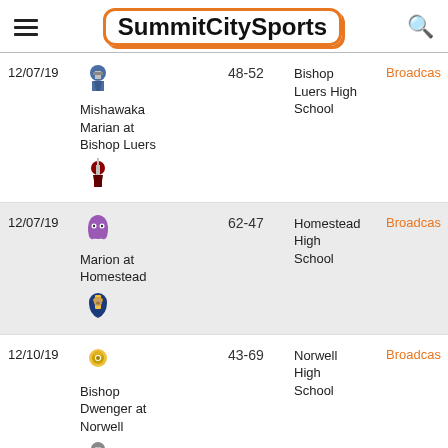SummitCitySports
| Date | Matchup | Score | Venue | Link |
| --- | --- | --- | --- | --- |
| 12/07/19 | Mishawaka Marian at Bishop Luers | 48-52 | Bishop Luers High School | Broadcas |
| 12/07/19 | Marion at Homestead | 62-47 | Homestead High School | Broadcas |
| 12/10/19 | Bishop Dwenger at Norwell | 43-69 | Norwell High School | Broadcas |
| 12/13/19 | Concordia | 37-71 | Carroll High School | Broadcas |